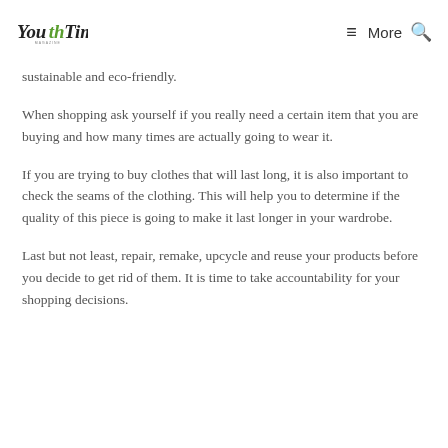YouthTime Magazine | More
sustainable and eco-friendly.
When shopping ask yourself if you really need a certain item that you are buying and how many times are actually going to wear it.
If you are trying to buy clothes that will last long, it is also important to check the seams of the clothing. This will help you to determine if the quality of this piece is going to make it last longer in your wardrobe.
Last but not least, repair, remake, upcycle and reuse your products before you decide to get rid of them. It is time to take accountability for your shopping decisions.